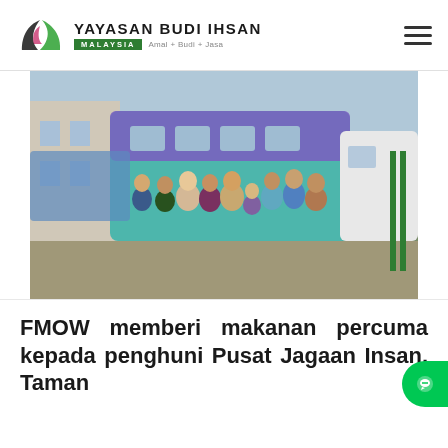Yayasan Budi Ihsan Malaysia — Amal + Budi + Jasa
[Figure (photo): Group photo of approximately 12 people standing outdoors in front of a teal/purple bus, posing with thumbs up. Taken in a residential area in Malaysia.]
FMOW memberi makanan percuma kepada penghuni Pusat Jagaan Insan, Taman